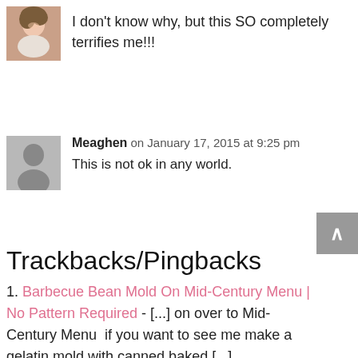[Figure (photo): Small avatar photo of a woman, top-left of page]
I don't know why, but this SO completely terrifies me!!!
[Figure (illustration): Gray placeholder avatar with person silhouette]
Meaghen on January 17, 2015 at 9:25 pm
This is not ok in any world.
Trackbacks/Pingbacks
1. Barbecue Bean Mold On Mid-Century Menu | No Pattern Required - [...] on over to Mid-Century Menu  if you want to see me make a gelatin mold with canned baked [...]